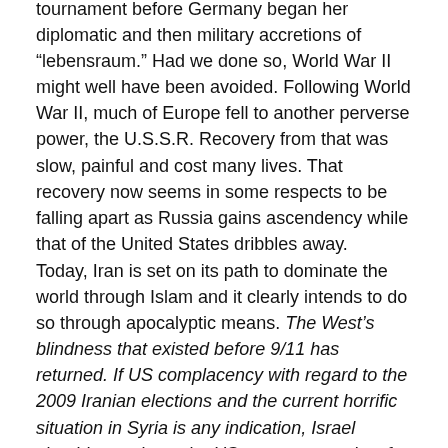tournament before Germany began her diplomatic and then military accretions of “lebensraum.” Had we done so, World War II might well have been avoided. Following World War II, much of Europe fell to another perverse power, the U.S.S.R. Recovery from that was slow, painful and cost many lives. That recovery now seems in some respects to be falling apart as Russia gains ascendency while that of the United States dribbles away.
Today, Iran is set on its path to dominate the world through Islam and it clearly intends to do so through apocalyptic means. The West’s blindness that existed before 9/11 has returned. If US complacency with regard to the 2009 Iranian elections and the current horrific situation in Syria is any indication, Israel should not rely on the US – or anyone else, for that matter – to stand together with it in the event of an attack. (Emphasis added.)